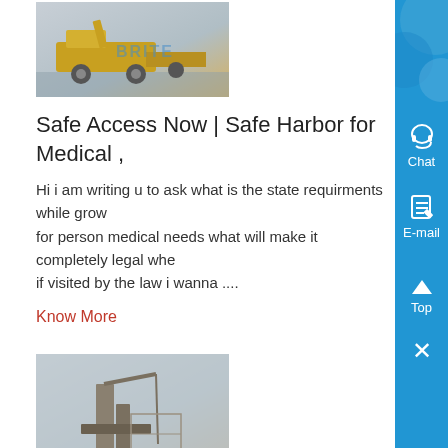[Figure (photo): Yellow mining/construction equipment on a job site, with BRITE watermark overlay]
Safe Access Now | Safe Harbor for Medical ,
Hi i am writing u to ask what is the state requirments while grow for person medical needs what will make it completely legal whe if visited by the law i wanna ....
Know More
[Figure (photo): Large industrial machinery/plant structure at a construction site with blue BRITE watermark]
Nucor Building Systems - Official Site
Nucor Building Systems is a leading manufacturer of custom pre engineered metal building systems with over 1,000 Authorized